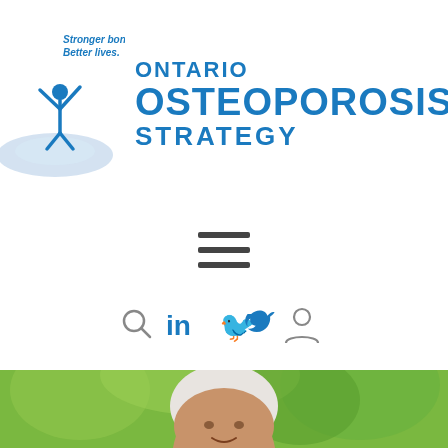[Figure (logo): Ontario Osteoporosis Strategy logo with blue figure raising arms above an ellipse, tagline 'Stronger bones. Better lives.' and organization name 'ONTARIO OSTEOPOROSIS STRATEGY' in blue]
[Figure (other): Hamburger menu icon (three horizontal lines)]
[Figure (other): Navigation icons: search (magnifying glass), LinkedIn 'in', Twitter bird, user profile icon — all in blue]
[Figure (photo): Photo of smiling elderly Black woman with white hair, outdoors with green foliage background]